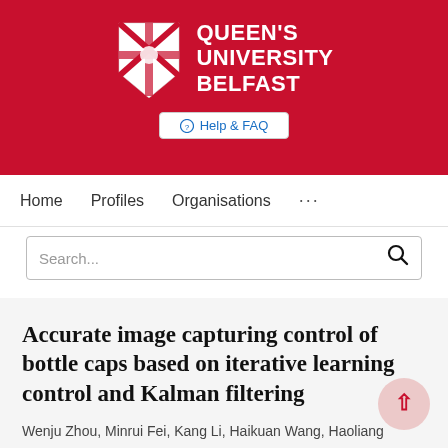[Figure (logo): Queen's University Belfast logo with red banner, shield crest, and white university name text]
Help & FAQ
Home   Profiles   Organisations   ...
Search...
Accurate image capturing control of bottle caps based on iterative learning control and Kalman filtering
Wenju Zhou, Minrui Fei, Kang Li, Haikuan Wang, Haoliang